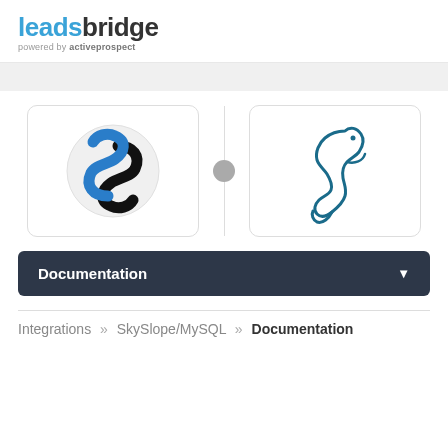[Figure (logo): LeadsBridge logo with 'leads' in blue and 'bridge' in dark, with 'powered by activeprospect' subtitle]
[Figure (illustration): Two integration logo boxes side by side: SkySlope (S-shaped swirl logo in circle) and MySQL (dolphin logo), connected by a vertical line with a gray dot connector]
Documentation
Integrations » SkySlope/MySQL » Documentation